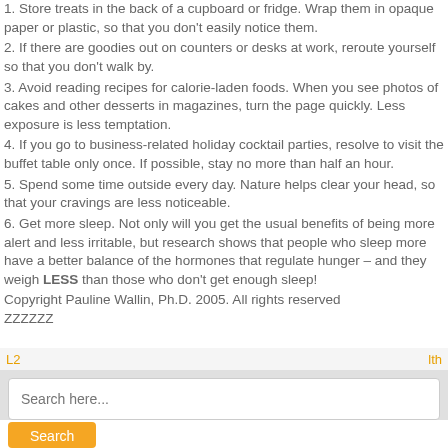1. Store treats in the back of a cupboard or fridge. Wrap them in opaque paper or plastic, so that you don't easily notice them.
2. If there are goodies out on counters or desks at work, reroute yourself so that you don't walk by.
3. Avoid reading recipes for calorie-laden foods. When you see photos of cakes and other desserts in magazines, turn the page quickly. Less exposure is less temptation.
4. If you go to business-related holiday cocktail parties, resolve to visit the buffet table only once. If possible, stay no more than half an hour.
5. Spend some time outside every day. Nature helps clear your head, so that your cravings are less noticeable.
6. Get more sleep. Not only will you get the usual benefits of being more alert and less irritable, but research shows that people who sleep more have a better balance of the hormones that regulate hunger – and they weigh LESS than those who don't get enough sleep!
Copyright Pauline Wallin, Ph.D. 2005. All rights reserved ZZZZZZ
L2   lth
Search here...